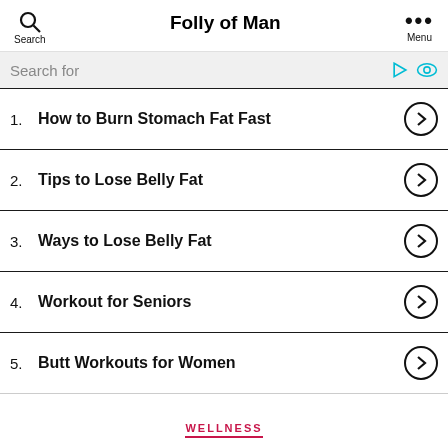Folly of Man
Search for
1. How to Burn Stomach Fat Fast
2. Tips to Lose Belly Fat
3. Ways to Lose Belly Fat
4. Workout for Seniors
5. Butt Workouts for Women
WELLNESS
How To Love Yourself